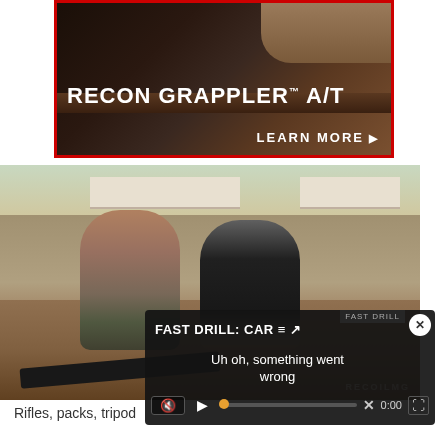[Figure (photo): Advertisement for Recon Grappler A/T tire with truck tire close-up on dirt background, red border, white text reading RECON GRAPPLER A/T and LEARN MORE with arrow]
[Figure (photo): Two men crouching at an outdoor shooting range with a scoped rifle on a bipod in the foreground, canopy shelters visible in background]
[Figure (screenshot): Video player overlay showing FAST DRILL: CAR text, error message 'Uh oh, something went wrong', muted speaker icon, play button, seek bar with X mark, 0:00 time, fullscreen button, and close X button]
Rifles, packs, tripod